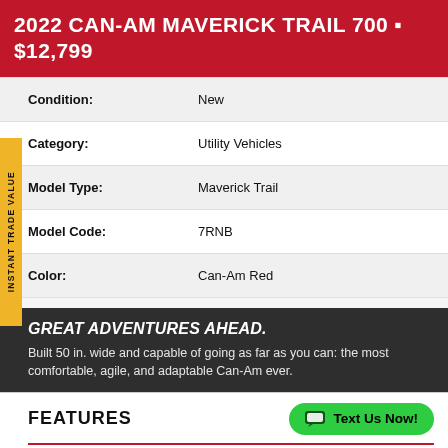2022 CAN-AM MAVERICK TRAIL 700 • $12,799
| Field | Value |
| --- | --- |
| Condition: | New |
| Category: | Utility Vehicles |
| Model Type: | Maverick Trail |
| Model Code: | 7RNB |
| Color: | Can-Am Red |
GREAT ADVENTURES AHEAD.
Built 50 in. wide and capable of going as far as you can: the most comfortable, agile, and adaptable Can-Am ever.
FEATURES
DISPLAY